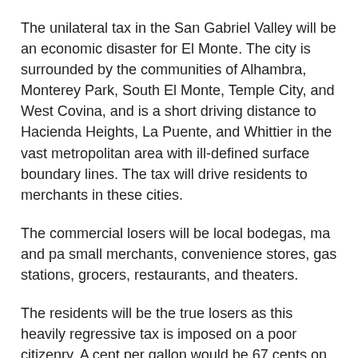The unilateral tax in the San Gabriel Valley will be an economic disaster for El Monte. The city is surrounded by the communities of Alhambra, Monterey Park, South El Monte, Temple City, and West Covina, and is a short driving distance to Hacienda Heights, La Puente, and Whittier in the vast metropolitan area with ill-defined surface boundary lines. The tax will drive residents to merchants in these cities.
The commercial losers will be local bodegas, ma and pa small merchants, convenience stores, gas stations, grocers, restaurants, and theaters.
The residents will be the true losers as this heavily regressive tax is imposed on a poor citizenry. A cent per gallon would be 67 cents on a 2 liter (67.5 gallon) Coke or Pepsi, or $.72 a 12oz six pack. Since it imposed on sugary-sweetened drinks, it could apply to teas, Starbucks and other beverages.
A proposal to impose the tax statewide failed in the